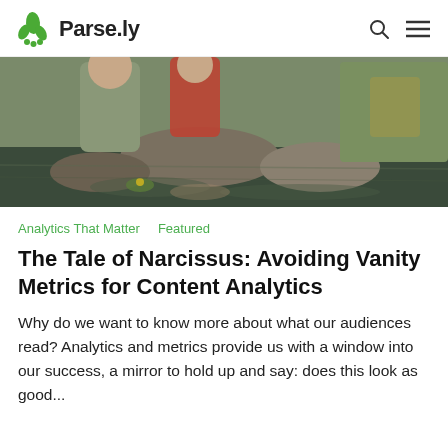Parse.ly
[Figure (photo): A detail of a classical painting depicting figures near a body of water with rocks and vegetation, partially cropped, showing rich oil-paint colors of green, brown, red, and golden tones.]
Analytics That Matter   Featured
The Tale of Narcissus: Avoiding Vanity Metrics for Content Analytics
Why do we want to know more about what our audiences read? Analytics and metrics provide us with a window into our success, a mirror to hold up and say: does this look as good...